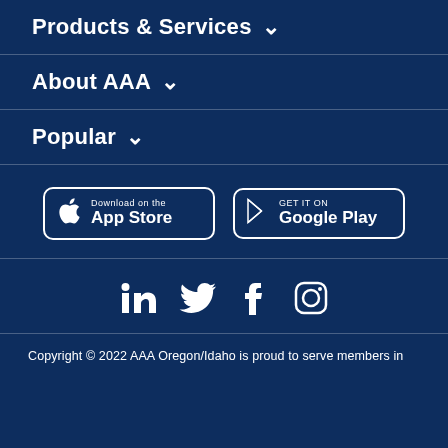Products & Services ▾
About AAA ▾
Popular ▾
[Figure (other): Two app store download buttons: 'Download on the App Store' (Apple) and 'GET IT ON Google Play']
[Figure (other): Social media icons row: LinkedIn, Twitter, Facebook, Instagram]
Copyright © 2022 AAA Oregon/Idaho is proud to serve members in